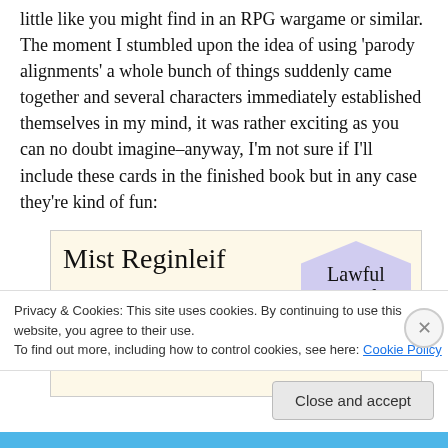little like you might find in an RPG wargame or similar. The moment I stumbled upon the idea of using 'parody alignments' a whole bunch of things suddenly came together and several characters immediately established themselves in my mind, it was rather exciting as you can no doubt imagine–anyway, I'm not sure if I'll include these cards in the finished book but in any case they're kind of fun:
[Figure (illustration): A character card showing 'Mist Reginleif' with subtitle 'Human Vallamie' on a cream background, and a hexagon badge on the right reading 'Lawful Squeeful']
Privacy & Cookies: This site uses cookies. By continuing to use this website, you agree to their use.
To find out more, including how to control cookies, see here: Cookie Policy
Close and accept